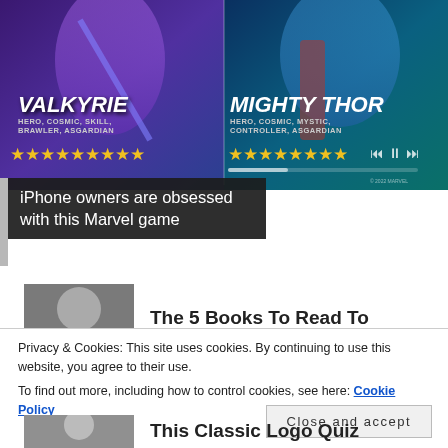[Figure (screenshot): Marvel game advertisement showing Valkyrie and Mighty Thor characters with star ratings. Valkyrie labeled HERO, COSMIC, SKILL, BRAWLER, ASGARDIAN. Mighty Thor labeled HERO, COSMIC, MYSTIC, CONTROLLER, ASGARDIAN.]
iPhone owners are obsessed with this Marvel game
[Figure (photo): Thumbnail photo of a person (partially visible)]
The 5 Books To Read To
Privacy & Cookies: This site uses cookies. By continuing to use this website, you agree to their use.
To find out more, including how to control cookies, see here: Cookie Policy
Close and accept
[Figure (photo): Thumbnail photo of a person (partially visible at bottom)]
This Classic Logo Quiz